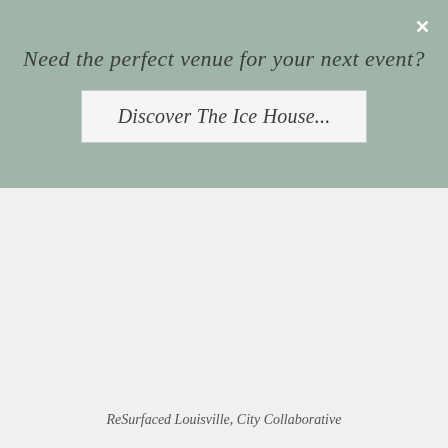Need the perfect venue for your next event?
Discover The Ice House...
[Figure (photo): Large light gray rectangular image placeholder area, likely a photo of ReSurfaced Louisville venue event space]
ReSurfaced Louisville, City Collaborative